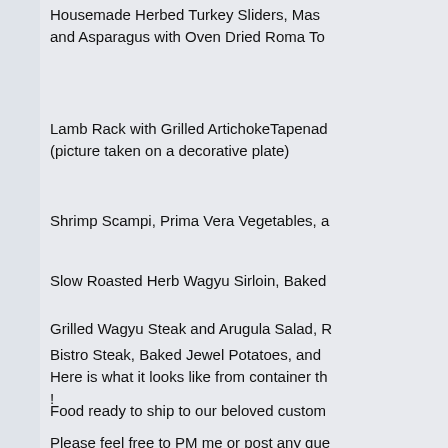Housemade Herbed Turkey Sliders, Mash and Asparagus with Oven Dried Roma To
Lamb Rack with Grilled ArtichokeTapenade (picture taken on a decorative plate)
Shrimp Scampi, Prima Vera Vegetables, a
Slow Roasted Herb Wagyu Sirloin, Baked
Grilled Wagyu Steak and Arugula Salad, R
Bistro Steak, Baked Jewel Potatoes, and Here is what it looks like from container th !
Food ready to ship to our beloved custom
Please feel free to PM me or post any que You can also reach us via FACEBOOK !